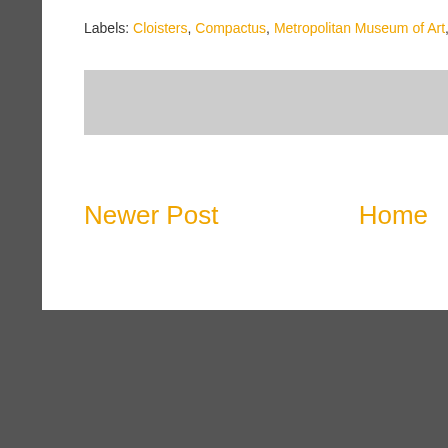Labels: Cloisters, Compactus, Metropolitan Museum of Art, Stacks
[Figure (other): Gray horizontal bar (decorative separator)]
Newer Post    Home